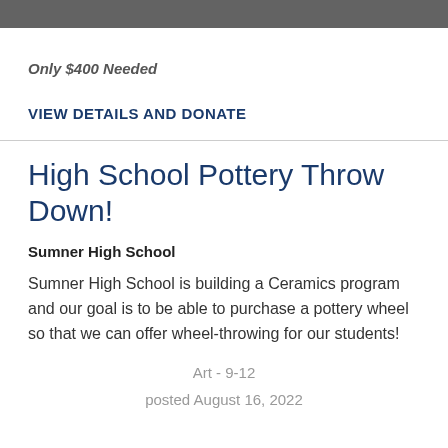Only $400 Needed
VIEW DETAILS AND DONATE
High School Pottery Throw Down!
Sumner High School
Sumner High School is building a Ceramics program and our goal is to be able to purchase a pottery wheel so that we can offer wheel-throwing for our students!
Art - 9-12
posted August 16, 2022